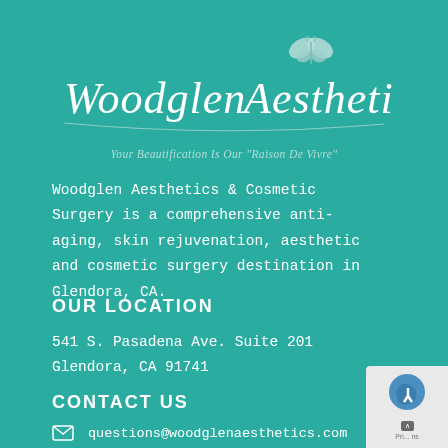[Figure (logo): Woodglen Aesthetics logo in white italic script with a butterfly icon above, on teal background]
Your Beautification Is Our "Raison De Vivre"
Woodglen Aesthetics & Cosmetic Surgery is a comprehensive anti-aging, skin rejuvenation, aesthetic and cosmetic surgery destination in Glendora, CA.
OUR LOCATION
541 S. Pasadena Ave. Suite 201
Glendora, CA 91741
CONTACT US
questions@woodglenaesthetics.com